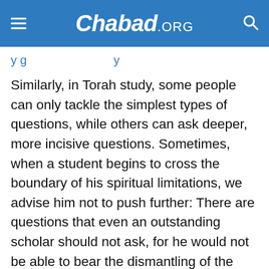Chabad.ORG
y g y
Similarly, in Torah study, some people can only tackle the simplest types of questions, while others can ask deeper, more incisive questions. Sometimes, when a student begins to cross the boundary of his spiritual limitations, we advise him not to push further: There are questions that even an outstanding scholar should not ask, for he would not be able to bear the dismantling of the sacred and its subsequent reassembly. For this reason, every student must assess himself and determine his personal spiritual level.
Someone once remarked that in order to attain the